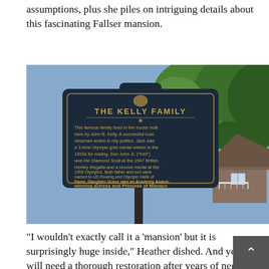assumptions, plus she piles on intriguing details about this fascinating Fallser mansion.
[Figure (photo): A historical marker sign reading 'THE KELLY FAMILY' with text about John B. Kelly and the Kelly family, including Grace Kelly, Princess of Monaco. Sign is mounted on a post with trees and a house visible in the background.]
"I wouldn't exactly call it a 'mansion' but it is surprisingly huge inside," Heather dished. And yes, it will need a thorough restoration after years of neglect and an unfortunate cat-hoarding situation in 2013. But on the plus side, since the decor has never been updated, it's a virtual time capsule of the